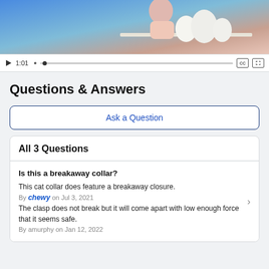[Figure (screenshot): Video player showing a woman in a pink top near white objects on a shelf with blue background. Controls show play button, timestamp 1:01, progress bar, CC and fullscreen icons.]
Questions & Answers
Ask a Question
All 3 Questions
Is this a breakaway collar?
This cat collar does feature a breakaway closure.
By chewy on Jul 3, 2021
The clasp does not break but it will come apart with low enough force that it seems safe.
By amurphy on Jan 12, 2022